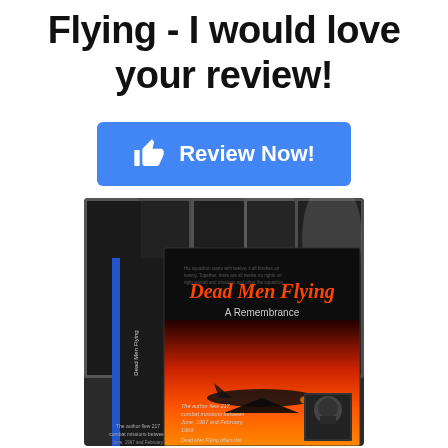Flying - I would love your review!
[Figure (other): Blue 'Review Now!' button with thumbs up icon]
[Figure (photo): Photo of multiple copies of the book 'Dead Men Flying: A Remembrance' showing the front cover with a jet aircraft on a red/dark background and the spine with text about the author flying 217 combat missions between June 1967 and February 1969.]